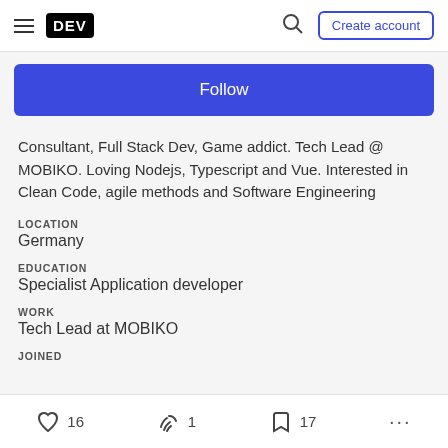DEV | Create account
Follow
Consultant, Full Stack Dev, Game addict. Tech Lead @ MOBIKO. Loving Nodejs, Typescript and Vue. Interested in Clean Code, agile methods and Software Engineering
LOCATION
Germany
EDUCATION
Specialist Application developer
WORK
Tech Lead at MOBIKO
JOINED
16  1  17  ...